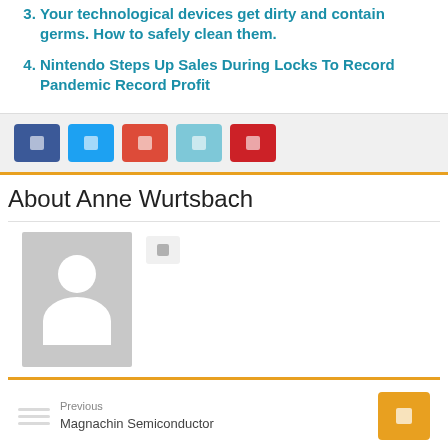Your technological devices get dirty and contain germs. How to safely clean them.
Nintendo Steps Up Sales During Locks To Record Pandemic Record Profit
[Figure (other): Social share buttons: Facebook, Twitter, Google+, LinkedIn, Pinterest]
About Anne Wurtsbach
[Figure (photo): Generic user avatar placeholder image (gray silhouette on gray background) with a small social link icon button]
Previous Magnachin Semiconductor